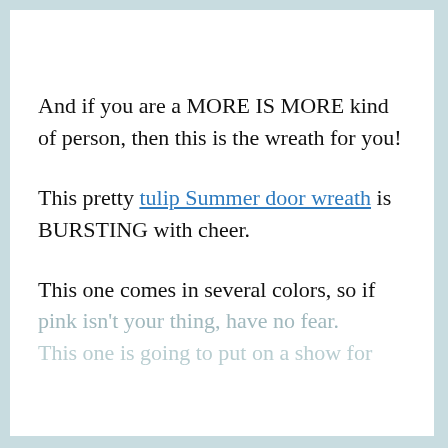And if you are a MORE IS MORE kind of person, then this is the wreath for you!
This pretty tulip Summer door wreath is BURSTING with cheer.
This one comes in several colors, so if pink isn't your thing, have no fear.
This one is going to put on a show for